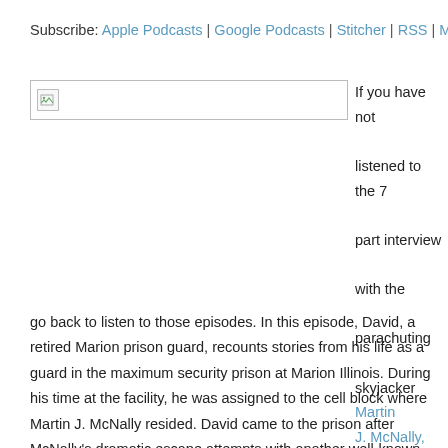Subscribe: Apple Podcasts | Google Podcasts | Stitcher | RSS | More
[Figure (other): Broken image placeholder — a small browser broken-image icon inside a wide rectangular image embed box]
If you have not listened to the 7 part interview with the parachuting skyjacker Martin J. McNally, please stop and go back to listen to those episodes. In this episode, David, a retired Marion prison guard, recounts stories from his life as a guard in the maximum security prison at Marion Illinois. During his time at the facility, he was assigned to the cell block where Martin J. McNally resided. David came to the prison after McNally's dramatic escape attempts with another well-known skyjacker Garrett Brock Trapnell… David